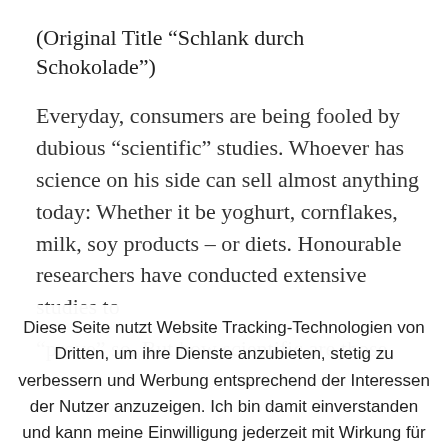(Original Title “Schlank durch Schokolade”)
Everyday, consumers are being fooled by dubious “scientific” studies. Whoever has science on his side can sell almost anything today: Whether it be yoghurt, cornflakes, milk, soy products – or diets. Honourable researchers have conducted extensive studies to “prove” so. But how scientific are those studies really?
Diese Seite nutzt Website Tracking-Technologien von Dritten, um ihre Dienste anzubieten, stetig zu verbessern und Werbung entsprechend der Interessen der Nutzer anzuzeigen. Ich bin damit einverstanden und kann meine Einwilligung jederzeit mit Wirkung für die Zukunft widerrufen oder ändern. Cookie settings ACCEPT